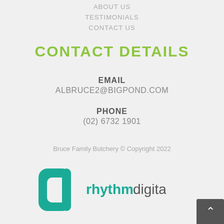ABOUT US
TESTIMONIALS
CONTACT US
CONTACT DETAILS
EMAIL
ALBRUCE2@BIGPOND.COM
PHONE
(02) 6732 1901
Bruce Family Butchery © Copyright 2022
[Figure (logo): Rhythm Digital logo — teal stylized 'd' icon and 'rhythmdigital' wordmark in teal/dark text]